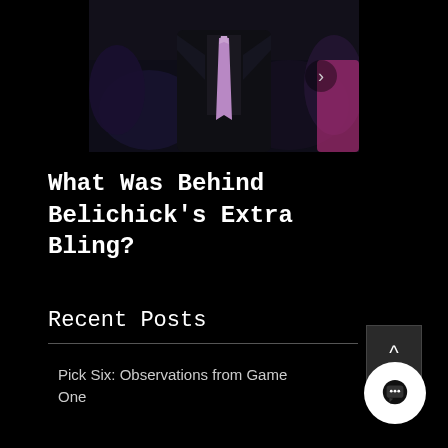[Figure (photo): Photo of a man in a dark suit with a purple/lavender tie at what appears to be a formal event. A navigation arrow is visible on the right side of the image.]
What Was Behind Belichick's Extra Bling?
Recent Posts
Pick Six: Observations from Game One